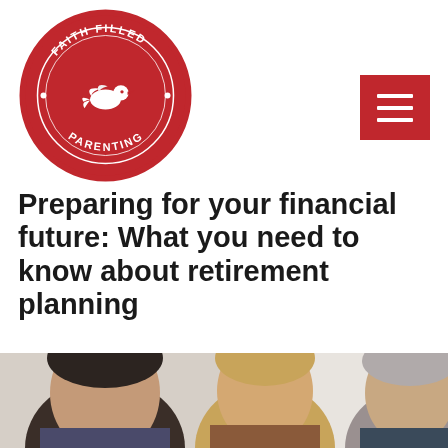[Figure (logo): Faith Filled Parenting circular seal logo in red with a white dove/bird in the center]
Preparing for your financial future: What you need to know about retirement planning
By Faith Filled Parenting | Lifestyle | February 4, 2022 | 5 minutes of reading
[Figure (photo): Three people (two men and a woman) in a professional setting, partially cropped at bottom of page]